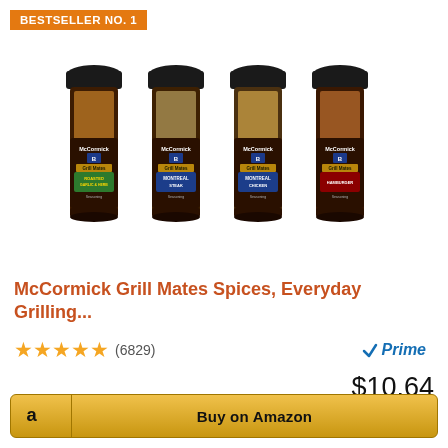BESTSELLER NO. 1
[Figure (photo): Four McCormick Grill Mates spice seasoning bottles: Roasted Garlic & Herb, Montreal Steak, Montreal Chicken, and Hamburger, arranged side by side with black lids.]
McCormick Grill Mates Spices, Everyday Grilling...
★★★★★ (6829)  Prime
$10.64
Buy on Amazon